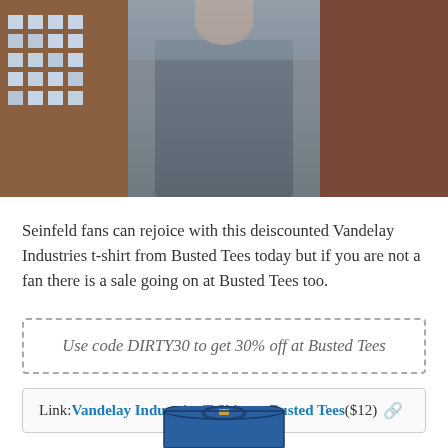[Figure (photo): Woman wearing a grey tank top/t-shirt, photographed outdoors in front of urban brick buildings]
Seinfeld fans can rejoice with this deiscounted Vandelay Industries t-shirt from Busted Tees today but if you are not a fan there is a sale going on at Busted Tees too.
Use code DIRTY30 to get 30% off at Busted Tees
Link: Vandelay Industries T-Shirt at Busted Tees ($12)
[Figure (photo): Blue t-shirt product photo, partially visible at the bottom of the page]